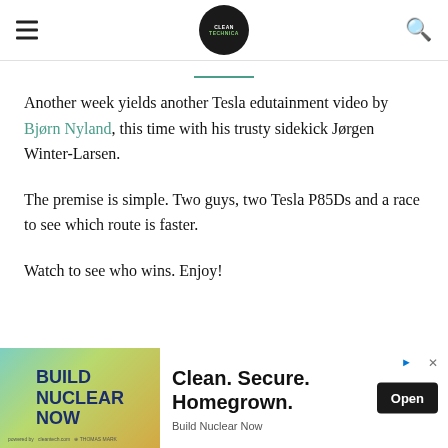CleanTechnica navigation header with hamburger menu, logo, and search icon
Another week yields another Tesla edutainment video by Bjørn Nyland, this time with his trusty sidekick Jørgen Winter-Larsen.
The premise is simple. Two guys, two Tesla P85Ds and a race to see which route is faster.
Watch to see who wins. Enjoy!
[Figure (other): Advertisement banner: Build Nuclear Now. Clean. Secure. Homegrown. with Open button.]